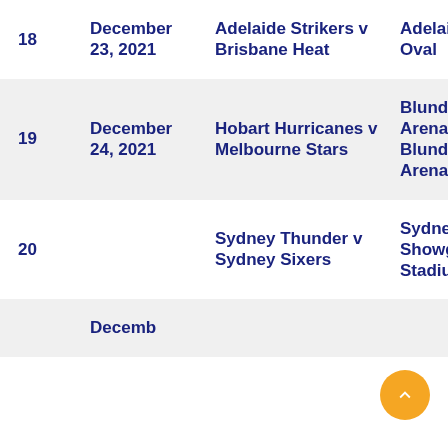| # | Date | Match | Venue | Time |
| --- | --- | --- | --- | --- |
| 18 | December 23, 2021 | Adelaide Strikers v Brisbane Heat | Adelaide Oval | 6:4 |
| 19 | December 24, 2021 | Hobart Hurricanes v Melbourne Stars | Blundstone Arena Blundstone Arena | 3:3 |
| 20 |  | Sydney Thunder v Sydney Sixers | Sydney Showground Stadium | 6:0 |
|  | Decemb... |  |  |  |